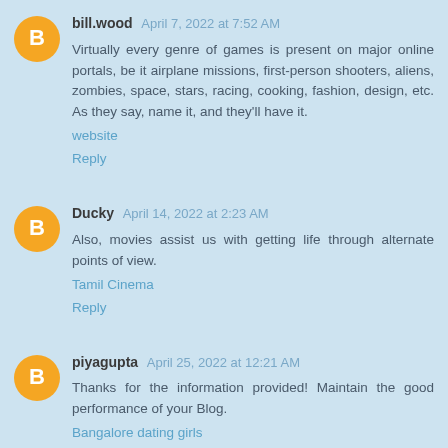bill.wood April 7, 2022 at 7:52 AM
Virtually every genre of games is present on major online portals, be it airplane missions, first-person shooters, aliens, zombies, space, stars, racing, cooking, fashion, design, etc. As they say, name it, and they'll have it. website
Reply
Ducky April 14, 2022 at 2:23 AM
Also, movies assist us with getting life through alternate points of view. Tamil Cinema
Reply
piyagupta April 25, 2022 at 12:21 AM
Thanks for the information provided! Maintain the good performance of your Blog. Bangalore dating girls